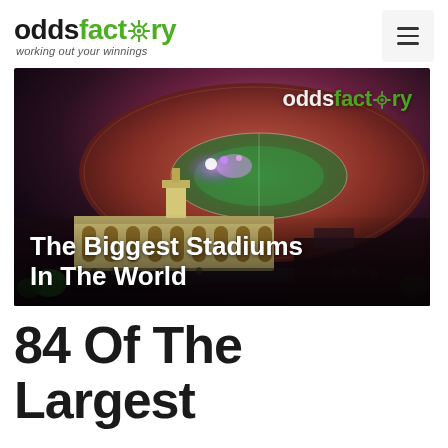oddsfactory — working out your winnings
[Figure (photo): Aerial photograph of a large sports stadium packed with spectators, lit with purple and white lights on the field, at dusk/night. Text overlay reads 'The Biggest Stadiums In The World' and the oddsfactory watermark logo appears in the upper right of the image.]
84 Of The Largest